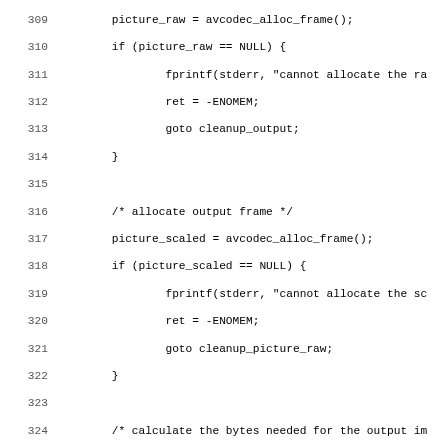[Figure (screenshot): Source code listing in monospace font showing C code lines 309-341 related to video frame allocation and buffer setup using FFmpeg/libavcodec API functions such as avcodec_alloc_frame, avpicture_get_size, av_malloc, and avpicture_fill.]